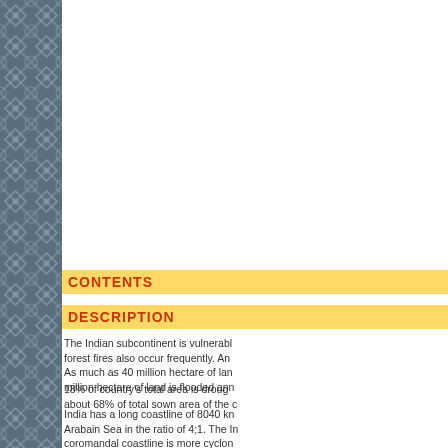[Figure (illustration): Left sidebar with dark blue-grey geometric/floral repeating pattern]
CONTENTS
DESCRIPTION
The Indian subcontinent is vulnerable to forest fires also occur frequently. As much as 40 million hectare of land million hectare of land is flooded ann
18% of country's total area is drought about 68% of total sown area of the c
India has a long coastline of 8040 km Arabain Sea in the ratio of 4;1. The In coromandal coastline is more cyclone Disaster reduction, preparedness and By a scientific and systematic appro strategies and engineering intervent
The book offers a practical manual to reference book available and often t proper strategies action plans and g and recovery efforts, leading to imm offers a ready and useful guide to all architects, including community bas ready simple guidelines for field eng